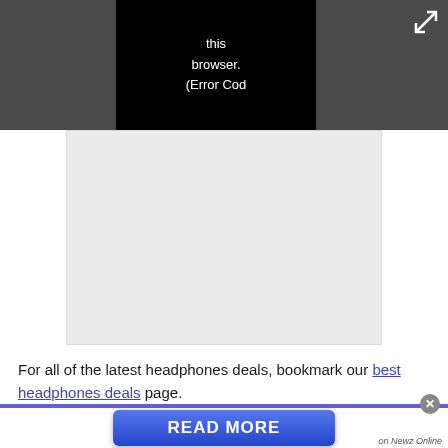[Figure (screenshot): Video player error overlay on dark gray background showing error text on black box, with expand icon in top right]
[Figure (other): Light gray video placeholder rectangle]
For all of the latest headphones deals, bookmark our best headphones deals page.
[Figure (other): Advertisement banner with blue background containing a READ MORE button, close button, and 'on Newz Online' label]